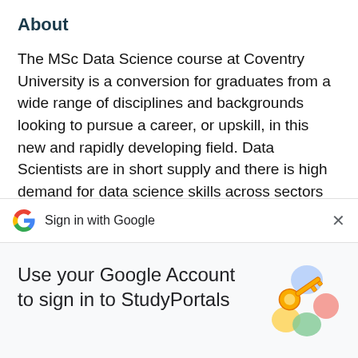About
The MSc Data Science course at Coventry University is a conversion for graduates from a wide range of disciplines and backgrounds looking to pursue a career, or upskill, in this new and rapidly developing field. Data Scientists are in short supply and there is high demand for data science skills across sectors including business
[Figure (screenshot): Sign in with Google bar with Google G logo on the left, 'Sign in with Google' text, and an X close button on the right]
Use your Google Account to sign in to StudyPortals
[Figure (illustration): Google account illustration showing a golden key with colorful circular shapes in blue, yellow, green, and red/pink]
No more passwords to remember.
Signing in is fast, simple and secure.
Continue